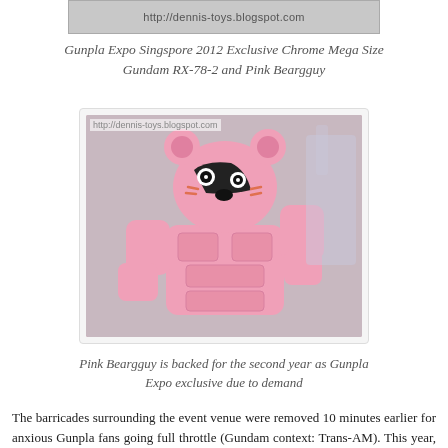[Figure (photo): Partial view of a webpage image strip showing URL text 'http://dennis-toys.blogspot.com']
Gunpla Expo Singspore 2012 Exclusive Chrome Mega Size Gundam RX-78-2 and Pink Beargguy
[Figure (photo): Pink Beargguy robot figure - a pink bear-shaped Gunpla model with robotic armor plating, bear ears, and cute face with black visor detail]
Pink Beargguy is backed for the second year as Gunpla Expo exclusive due to demand
The barricades surrounding the event venue were removed 10 minutes earlier for anxious Gunpla fans going full throttle (Gundam context: Trans-AM). This year, there is no time restriction to public so VIPs, invitees and Gunpla fans could